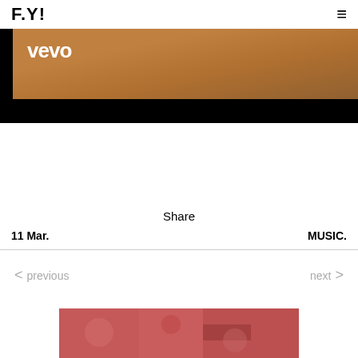F.Y!
[Figure (screenshot): Vevo video player banner showing a partial thumbnail with a person and the Vevo logo in white on black/brown background]
Share
11 Mar.
MUSIC.
< previous
next >
[Figure (photo): Partial thumbnail of next article showing pink/red glittery or floral image]